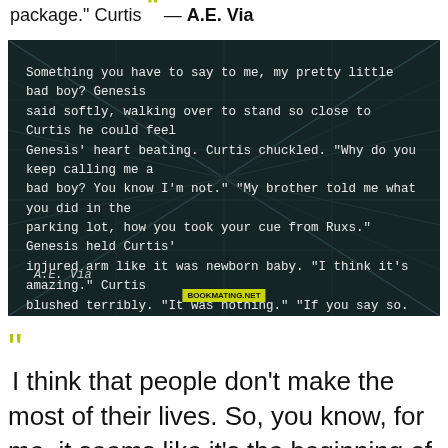package." Curtis ” — A.E. Via
[Figure (illustration): Dark teal/dark background image with grid-like architectural lines suggesting a warehouse or parking structure interior. White handwritten-style text contains a quote about Genesis and Curtis. Author attribution 'A.E. Via' appears at bottom left, with a yellow-green watermark in the center bottom.]
“ I think that people don't make the most of their lives. So, you know, for me, it seems like it's the beginning of me rattling the cage, of making some people nervous. And people are